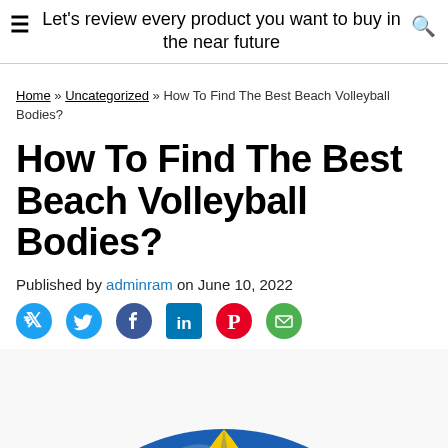Let's review every product you want to buy in the near future
Home » Uncategorized » How To Find The Best Beach Volleyball Bodies?
How To Find The Best Beach Volleyball Bodies?
Published by adminram on June 10, 2022
[Figure (infographic): Social media share icons: Twitter (blue bird), Facebook (blue circle with f), LinkedIn (blue square with in), Pinterest (red circle with P), Email (green envelope)]
[Figure (photo): Beach volleyball — blue and yellow ball, bottom half visible, close-up view from above]